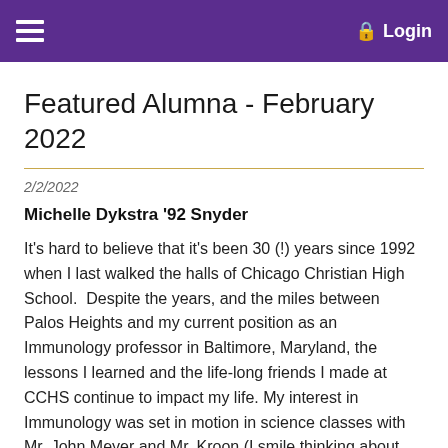Login
Featured Alumna - February 2022
2/2/2022
Michelle Dykstra '92 Snyder
It's hard to believe that it's been 30 (!) years since 1992 when I last walked the halls of Chicago Christian High School.  Despite the years, and the miles between Palos Heights and my current position as an Immunology professor in Baltimore, Maryland, the lessons I learned and the life-long friends I made at CCHS continue to impact my life. My interest in Immunology was set in motion in science classes with Mr. John Meyer and Mr. Kroon (I smile thinking about